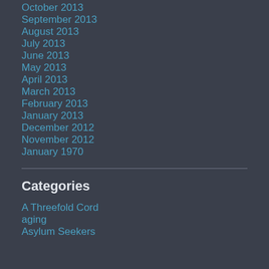October 2013
September 2013
August 2013
July 2013
June 2013
May 2013
April 2013
March 2013
February 2013
January 2013
December 2012
November 2012
January 1970
Categories
A Threefold Cord
aging
Asylum Seekers